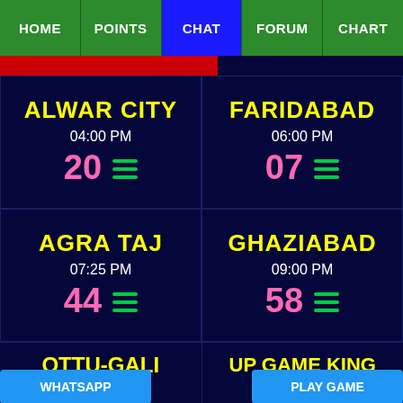HOME | POINTS | CHAT | FORUM | CHART
ALWAR CITY 04:00 PM 20
FARIDABAD 06:00 PM 07
AGRA TAJ 07:25 PM 44
GHAZIABAD 09:00 PM 58
OTTU-GALI
UP GAME KING
WHATSAPP
PLAY GAME